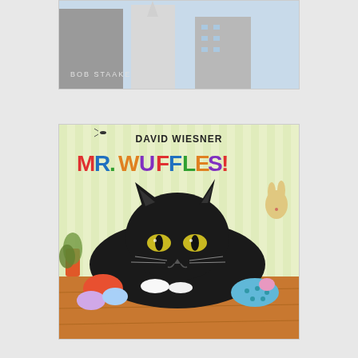[Figure (illustration): Book cover showing city skyline with large buildings in muted blue-gray tones, with 'BOB STAAKE' author name visible at lower left]
[Figure (illustration): Book cover for 'Mr. Wuffles!' by David Wiesner, showing a large black cat lying on a wooden floor staring forward with yellow eyes. Colorful toy mice and a ball nearby. Title in multicolored bold letters, author name in black at top.]